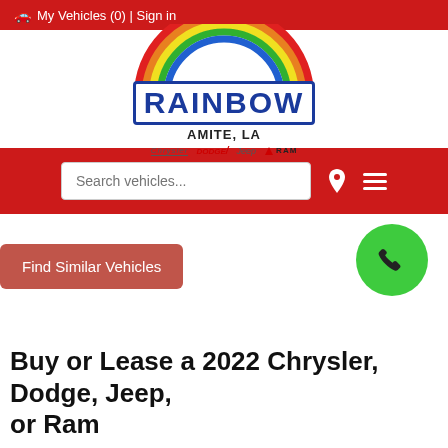🚗 My Vehicles (0) | Sign in
[Figure (logo): Rainbow Chrysler Dodge Jeep Ram dealership logo with rainbow arc above bold text 'RAINBOW', 'AMITE, LA', and brand logos for Chrysler, Dodge, Jeep, RAM]
Search vehicles...
Find Similar Vehicles
Buy or Lease a 2022 Chrysler, Dodge, Jeep, or Ram